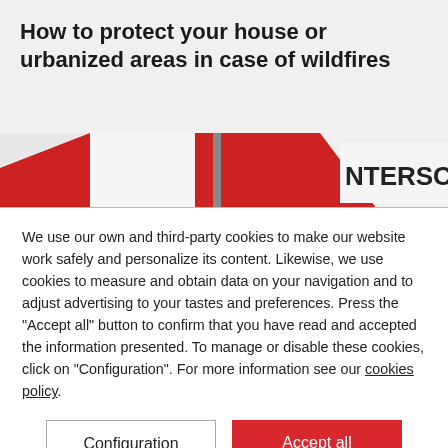How to protect your house or urbanized areas in case of wildfires
[Figure (photo): Partial photo showing red and white flags or banners and a sign partially reading 'INTERSCHUTZ' against a grey/white background]
We use our own and third-party cookies to make our website work safely and personalize its content. Likewise, we use cookies to measure and obtain data on your navigation and to adjust advertising to your tastes and preferences. Press the "Accept all" button to confirm that you have read and accepted the information presented. To manage or disable these cookies, click on "Configuration". For more information see our cookies policy.